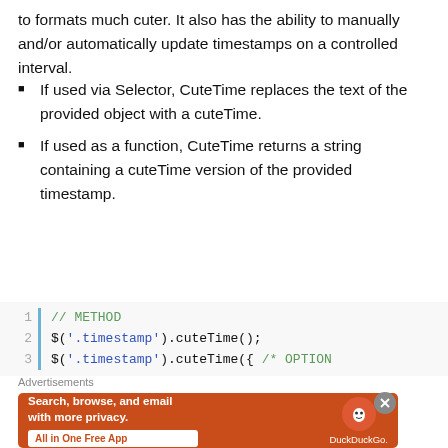to formats much cuter. It also has the ability to manually and/or automatically update timestamps on a controlled interval.
If used via Selector, CuteTime replaces the text of the provided object with a cuteTime.
If used as a function, CuteTime returns a string containing a cuteTime version of the provided timestamp.
[Figure (screenshot): Code block showing lines 1-3 with METHOD comment and jQuery cuteTime usage: 1: // METHOD, 2: $('.timestamp').cuteTime();, 3: $('.timestamp').cuteTime({ /* OPTIONS]
Advertisements
[Figure (infographic): DuckDuckGo advertisement banner: Search, browse, and email with more privacy. All in One Free App. DuckDuckGo logo and phone graphic on orange background.]